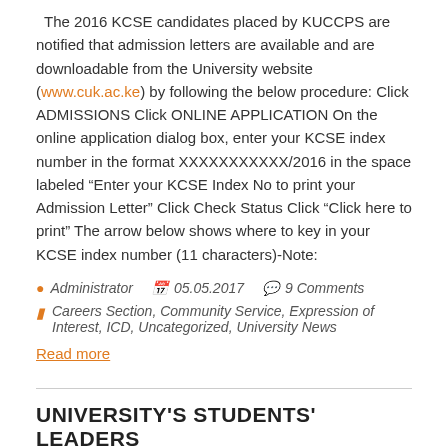The 2016 KCSE candidates placed by KUCCPS are notified that admission letters are available and are downloadable from the University website (www.cuk.ac.ke) by following the below procedure: Click ADMISSIONS Click ONLINE APPLICATION On the online application dialog box, enter your KCSE index number in the format XXXXXXXXXXX/2016 in the space labeled “Enter your KCSE Index No to print your Admission Letter” Click Check Status Click “Click here to print” The arrow below shows where to key in your KCSE index number (11 characters)-Note:
Administrator  05.05.2017  9 Comments
Careers Section, Community Service, Expression of Interest, ICD, Uncategorized, University News
Read more
UNIVERSITY'S STUDENTS' LEADERS